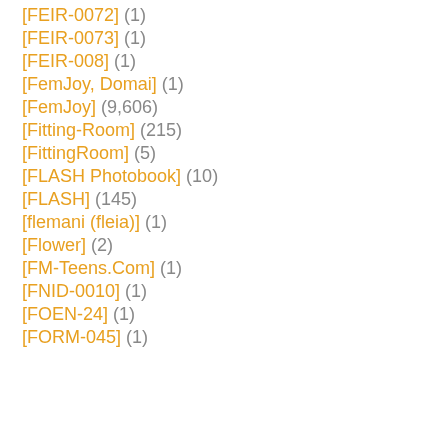[FEIR-0072] (1)
[FEIR-0073] (1)
[FEIR-008] (1)
[FemJoy, Domai] (1)
[FemJoy] (9,606)
[Fitting-Room] (215)
[FittingRoom] (5)
[FLASH Photobook] (10)
[FLASH] (145)
[flemani (fleia)] (1)
[Flower] (2)
[FM-Teens.Com] (1)
[FNID-0010] (1)
[FOEN-24] (1)
[FORM-045] (1)